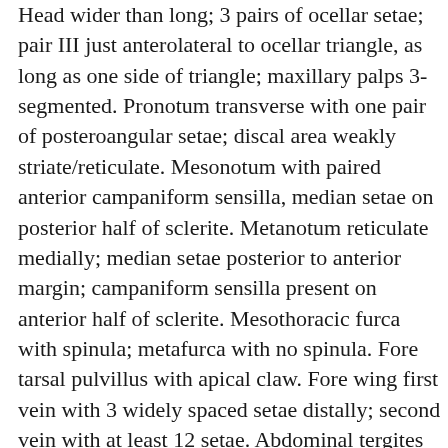Head wider than long; 3 pairs of ocellar setae; pair III just anterolateral to ocellar triangle, as long as one side of triangle; maxillary palps 3-segmented. Pronotum transverse with one pair of posteroangular setae; discal area weakly striate/reticulate. Mesonotum with paired anterior campaniform sensilla, median setae on posterior half of sclerite. Metanotum reticulate medially; median setae posterior to anterior margin; campaniform sensilla present on anterior half of sclerite. Mesothoracic furca with spinula; metafurca with no spinula. Fore tarsal pulvillus with apical claw. Fore wing first vein with 3 widely spaced setae distally; second vein with at least 12 setae. Abdominal tergites with neither craspedum nor ctenidia; tergites V–VIII discal area with no sculpture medially; VIII with no posteromarginal comb; IX with 2 pairs of campaniform sensilla; X subequal in length to IX, with long median split. Pleurotergites irregularly reticulate, without discal microtrichia or setae. Sternites II– each with about 6 discal setae; setae S1 on VII arise